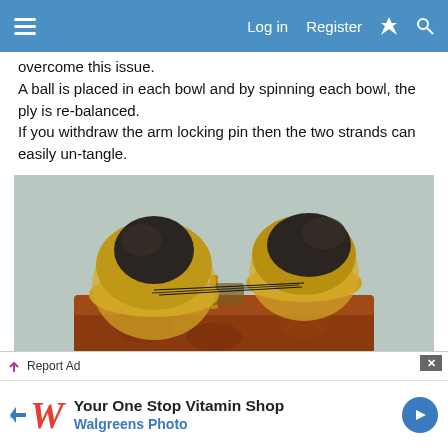Log in   Register
overcome this issue.
A ball is placed in each bowl and by spinning each bowl, the ply is re-balanced.
If you withdraw the arm locking pin then the two strands can easily un-tangle.
[Figure (photo): Two brass singing bowls placed on a wooden plank/box, each containing a dark ball of yarn or fiber with threads running between them, sitting on a patterned fabric surface.]
Report Ad
[Figure (logo): Walgreens ad: 'Your One Stop Vitamin Shop - Walgreens Photo' with Walgreens cursive W logo and blue arrow icon]